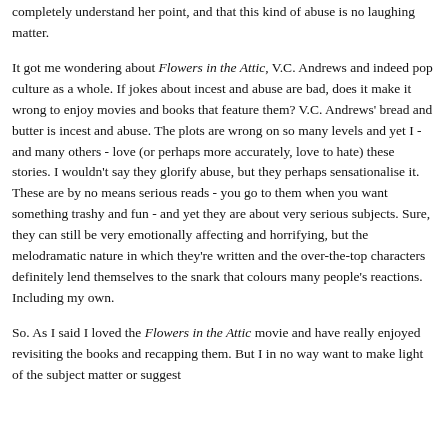completely understand her point, and that this kind of abuse is no laughing matter.
It got me wondering about Flowers in the Attic, V.C. Andrews and indeed pop culture as a whole. If jokes about incest and abuse are bad, does it make it wrong to enjoy movies and books that feature them? V.C. Andrews' bread and butter is incest and abuse. The plots are wrong on so many levels and yet I - and many others - love (or perhaps more accurately, love to hate) these stories. I wouldn't say they glorify abuse, but they perhaps sensationalise it. These are by no means serious reads - you go to them when you want something trashy and fun - and yet they are about very serious subjects. Sure, they can still be very emotionally affecting and horrifying, but the melodramatic nature in which they're written and the over-the-top characters definitely lend themselves to the snark that colours many people's reactions. Including my own.
So. As I said I loved the Flowers in the Attic movie and have really enjoyed revisiting the books and recapping them. But I in no way want to make light of the subject matter or suggest